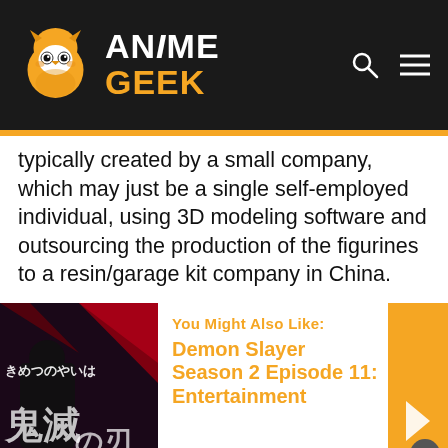ANiME GEEK
typically created by a small company, which may just be a single self-employed individual, using 3D modeling software and outsourcing the production of the figurines to a resin/garage kit company in China.
[Figure (infographic): Recommended article card with Demon Slayer image, 'You Might Also Like:' label, and article title 'Demon Slayer Season 2 Episode 11: Entertainment' in orange, with orange arrow accent on the right]
You Might Also Like:
Demon Slayer Season 2 Episode 11: Entertainment